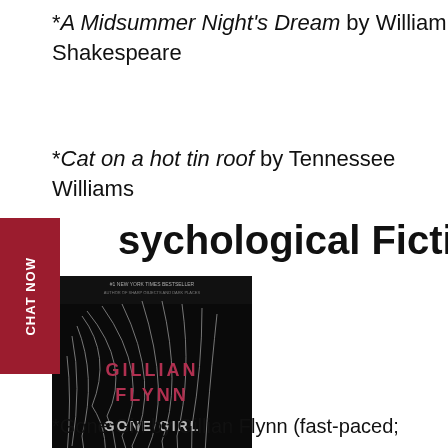*A Midsummer Night's Dream by William Shakespeare
*Cat on a hot tin roof by Tennessee Williams
Psychological Fiction
[Figure (photo): Book cover of Gone Girl by Gillian Flynn — dark background with white wispy hair strands, pink text reading GILLIAN FLYNN GONE GIRL, tagline NEW YORK TIMES BESTSELLER]
*Gone Girl by Gillian Flynn (fast-paced;